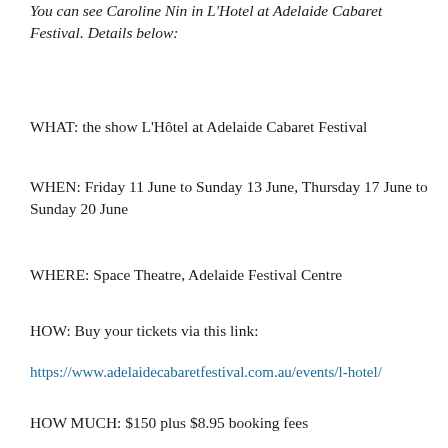You can see Caroline Nin in L'Hotel at Adelaide Cabaret Festival. Details below:
WHAT: the show L'Hôtel at Adelaide Cabaret Festival
WHEN: Friday 11 June to Sunday 13 June, Thursday 17 June to Sunday 20 June
WHERE: Space Theatre, Adelaide Festival Centre
HOW: Buy your tickets via this link:
https://www.adelaidecabaretfestival.com.au/events/l-hotel/
HOW MUCH: $150 plus $8.95 booking fees